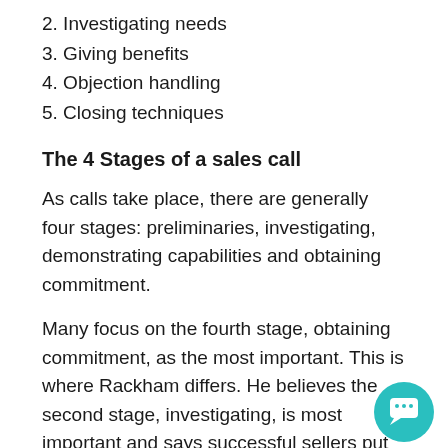2. Investigating needs
3. Giving benefits
4. Objection handling
5. Closing techniques
The 4 Stages of a sales call
As calls take place, there are generally four stages: preliminaries, investigating, demonstrating capabilities and obtaining commitment.
Many focus on the fourth stage, obtaining commitment, as the most important. This is where Rackham differs. He believes the second stage, investigating, is most important and says successful sellers put their greatest efforts into that stage.
His research was telling him that those NOT trained closing techniques were better closers and customers had higher satisfaction rates and were more likely to